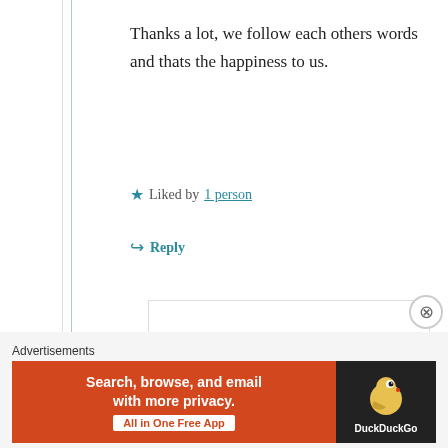Thanks a lot, we follow each others words and thats the happiness to us.
★ Liked by 1 person
↪ Reply
Susi Bocks
March 22, 2019 at 1:56 pm
[Figure (illustration): DuckDuckGo advertisement banner: orange left panel with text 'Search, browse, and email with more privacy. All in One Free App', dark right panel with DuckDuckGo duck logo]
Advertisements